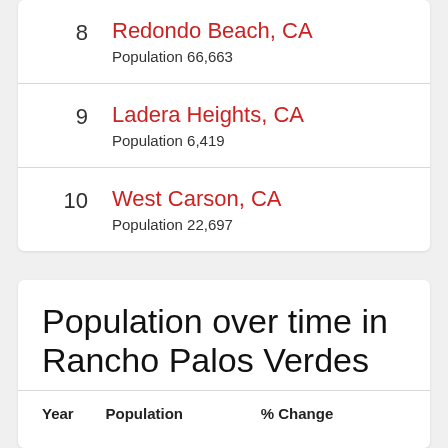8 Redondo Beach, CA — Population 66,663
9 Ladera Heights, CA — Population 6,419
10 West Carson, CA — Population 22,697
Population over time in Rancho Palos Verdes
| Year | Population | % Change |
| --- | --- | --- |